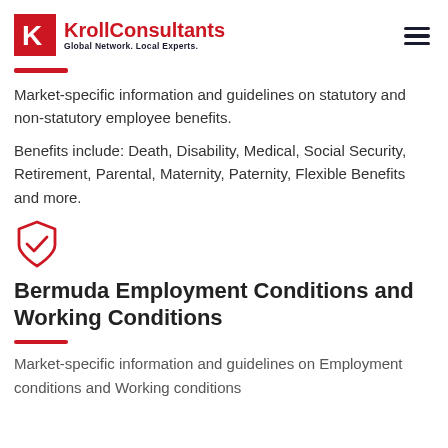KrollConsultants — Global Network. Local Experts.
Market-specific information and guidelines on statutory and non-statutory employee benefits.
Benefits include: Death, Disability, Medical, Social Security, Retirement, Parental, Maternity, Paternity, Flexible Benefits and more.
[Figure (illustration): Red shield with checkmark icon]
Bermuda Employment Conditions and Working Conditions
Market-specific information and guidelines on Employment conditions and Working conditions